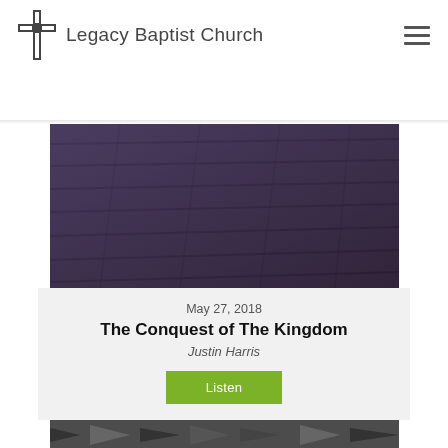Legacy Baptist Church
[Figure (photo): Dark purple-toned photo of wooden floor planks viewed from above at an angle]
May 27, 2018
The Conquest of The Kingdom
Justin Harris
Listen
[Figure (photo): Black and white photo of stacked books or arrows, partially visible at the bottom of the page]